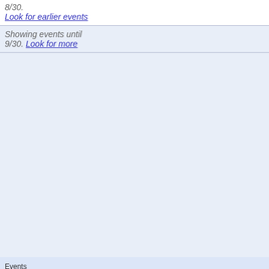8/30. Look for earlier events
Showing events until 9/30. Look for more
Events shown in time zone: Eastern Time - New York
[Figure (screenshot): Google Calendar badge with blue plus button and Google Calendar logo text]
[Figure (screenshot): Web form with a text input field, a large textarea, and a Submit button on a gray background]